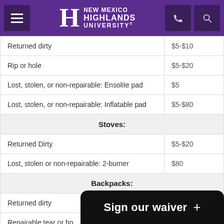New Mexico Highlands University
| Item | Fee |
| --- | --- |
| Returned dirty | $5-$10 |
| Rip or hole | $5-$20 |
| Lost, stolen, or non-repairable: Ensolite pad | $5 |
| Lost, stolen, or non-repairable: Inflatable pad | $5-$80 |
| Stoves: |  |
| Returned Dirty | $5-$20 |
| Lost, stolen or non-repairable: 2-burner | $80 |
| Backpacks: |  |
| Returned dirty | $5-$20 |
| Repairable tear or hole |  |
Sign our waiver +